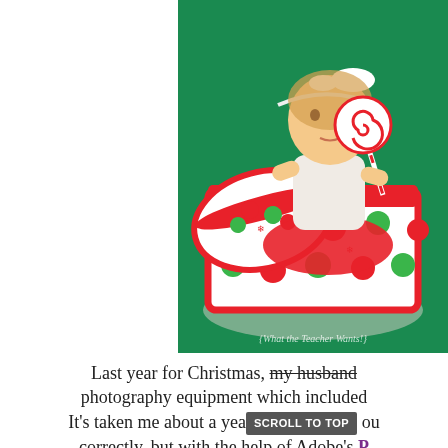[Figure (photo): A toddler girl with a white bow headband sitting inside a large red and white Christmas gift box decorated with red and green polka dots and snowflakes. She is holding a large red and white striped lollipop. The background is teal/green. A watermark reads '{What the Teacher Wants!}']
Last year for Christmas, my husband [strikethrough] photography equipment which included... It's taken me about a year [SCROLL TO TOP button] ou... correctly, but with the help of Adobe's P...